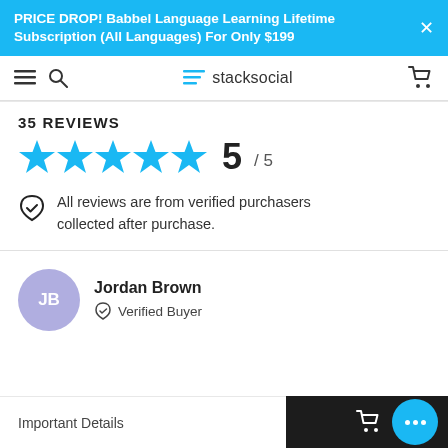PRICE DROP! Babbel Language Learning Lifetime Subscription (All Languages) For Only $199
[Figure (screenshot): stacksocial navigation bar with hamburger menu, search icon, stacksocial logo with lines icon, and cart icon]
35 REVIEWS
[Figure (infographic): 5 blue stars rating: 5 / 5]
All reviews are from verified purchasers collected after purchase.
Jordan Brown
Verified Buyer
Important Details